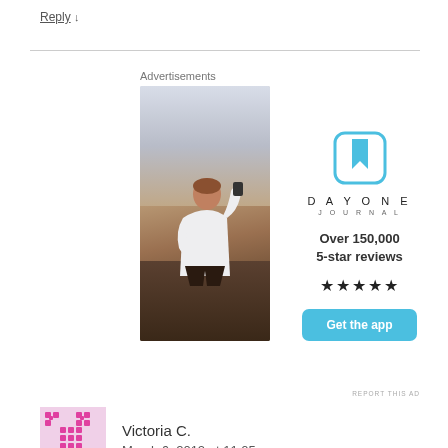Reply ↓
[Figure (infographic): Day One Journal advertisement with photo of person sitting on rocks taking a photo at sunset, Day One Journal logo, text 'Over 150,000 5-star reviews', five star rating, and 'Get the app' button]
REPORT THIS AD
Victoria C.
March 6, 2012 at 11:05